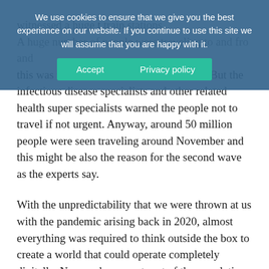We use cookies to ensure that we give you the best experience on our website. If you continue to use this site we will assume that you are happy with it. [Accept] [Privacy policy]
witnessed a huge [gap] train stations. A huge number of people were traveling to and fro and this was when the services were resumed. But the infectious disease specialists and other related health super specialists warned the people not to travel if not urgent. Anyway, around 50 million people were seen traveling around November and this might be also the reason for the second wave as the experts say.
With the unpredictability that we were thrown at us with the pandemic arising back in 2020, almost everything was required to think outside the box to create a world that could operate completely digitally. No wonder a great part of the population also opted to unplug the digital life, however, all the companies had to change their way of operating. Work from home was implemented all across